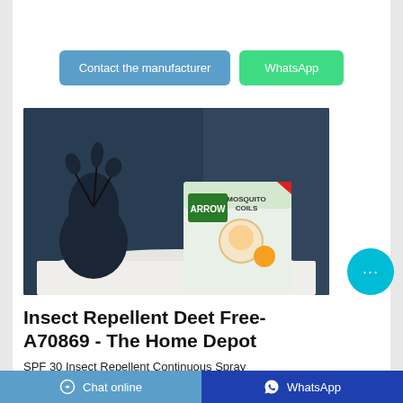[Figure (other): Button: Contact the manufacturer (blue/teal rounded rectangle)]
[Figure (other): Button: WhatsApp (green rounded rectangle)]
[Figure (photo): Product photo of Arrow Mosquito Coils box on a white cloth, dark teal background with plant]
[Figure (other): Cyan chat bubble button with three dots (bottom-right corner)]
Insect Repellent Deet Free-A70869 - The Home Depot
SPF 30 Insect Repellent Continuous Spray
[Figure (other): Bottom bar: Chat online button (blue) and WhatsApp button (dark blue)]